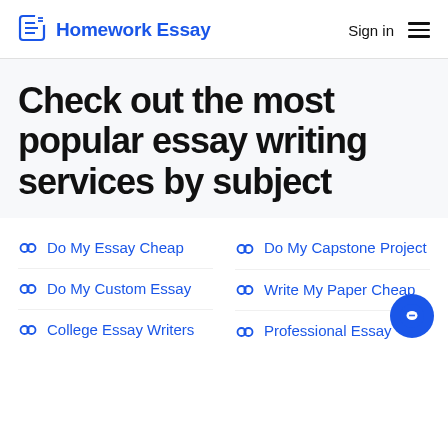Homework Essay | Sign in
Check out the most popular essay writing services by subject
Do My Essay Cheap
Do My Capstone Project
Do My Custom Essay
Write My Paper Cheap
College Essay Writers
Professional Essay Writing